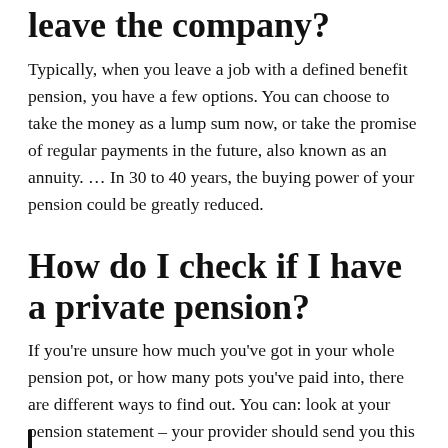leave the company?
Typically, when you leave a job with a defined benefit pension, you have a few options. You can choose to take the money as a lump sum now, or take the promise of regular payments in the future, also known as an annuity. … In 30 to 40 years, the buying power of your pension could be greatly reduced.
How do I check if I have a private pension?
If you’re unsure how much you’ve got in your whole pension pot, or how many pots you’ve paid into, there are different ways to find out. You can: look at your pension statement – your provider should send you this once a year. online – many providers let you track your pension on their website.